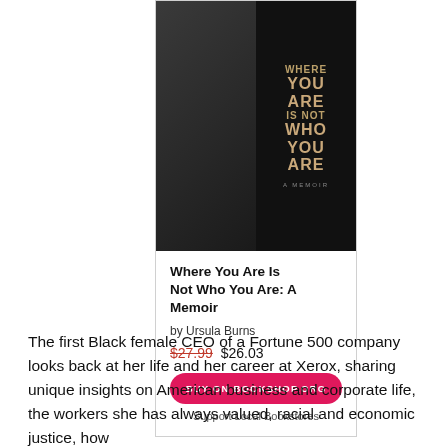[Figure (photo): Book cover of 'Where You Are Is Not Who You Are: A Memoir' by Ursula Burns. Dark background with the author in a black leather jacket on the left, and the book title text in gold/copper letters on the right.]
Where You Are Is Not Who You Are: A Memoir
by Ursula Burns
$27.99  $26.03
BUY ON BOOKSHOP.ORG
Support Local Bookstores
The first Black female CEO of a Fortune 500 company looks back at her life and her career at Xerox, sharing unique insights on American business and corporate life, the workers she has always valued, racial and economic justice, how